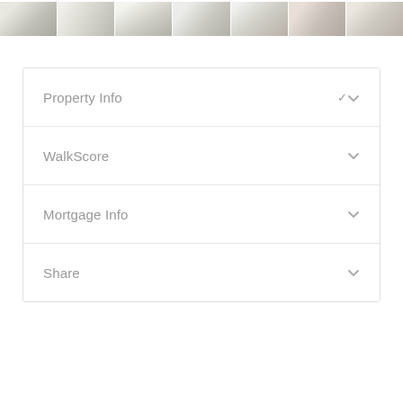[Figure (photo): Horizontal strip of 7 interior room photographs showing empty rooms with light walls and carpeted floors]
Property Info
WalkScore
Mortgage Info
Share